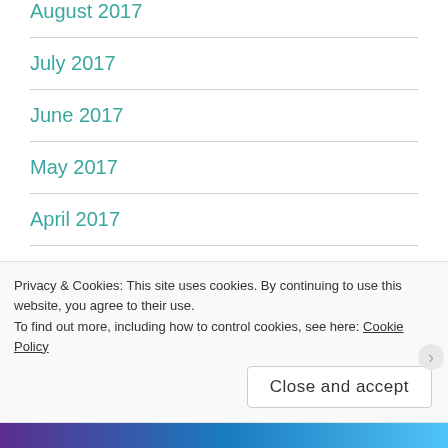August 2017
July 2017
June 2017
May 2017
April 2017
March 2017
February 2017
January 2017
Privacy & Cookies: This site uses cookies. By continuing to use this website, you agree to their use. To find out more, including how to control cookies, see here: Cookie Policy
Close and accept